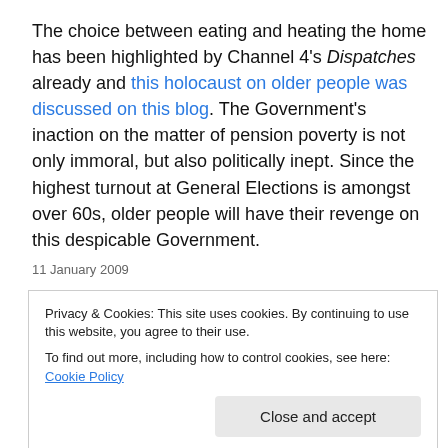The choice between eating and heating the home has been highlighted by Channel 4's Dispatches already and this holocaust on older people was discussed on this blog. The Government's inaction on the matter of pension poverty is not only immoral, but also politically inept. Since the highest turnout at General Elections is amongst over 60s, older people will have their revenge on this despicable Government.
Privacy & Cookies: This site uses cookies. By continuing to use this website, you agree to their use. To find out more, including how to control cookies, see here: Cookie Policy